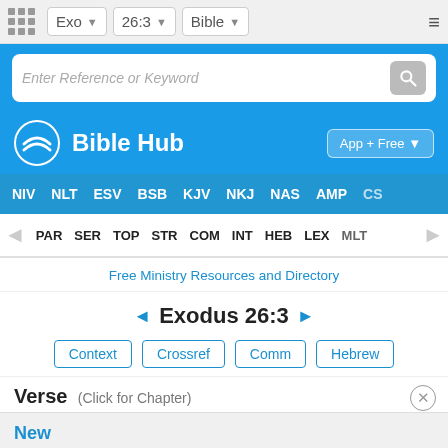Exo  26:3  Bible
Enter Reference or Keyword
Bible Hub
App + Free ↓
NIV  NLT  ESV  BSB  KJV  NKJ  NAS  AMP  CS
PAR  SER  TOP  STR  COM  INT  HEB  LEX  MLT
Free Ministry Resources and Directory
◄ Exodus 26:3 ►
Context  Crossref  Comm  Hebrew
Verse  (Click for Chapter)
New
Join f
me